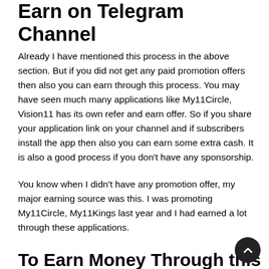Earn on Telegram Channel
Already I have mentioned this process in the above section. But if you did not get any paid promotion offers then also you can earn through this process. You may have seen much many applications like My11Circle, Vision11 has its own refer and earn offer. So if you share your application link on your channel and if subscribers install the app then also you can earn some extra cash. It is also a good process if you don't have any sponsorship.
You know when I didn't have any promotion offer, my major earning source was this. I was promoting My11Circle, My11Kings last year and I had earned a lot through these applications.
To Earn Money Through this i...